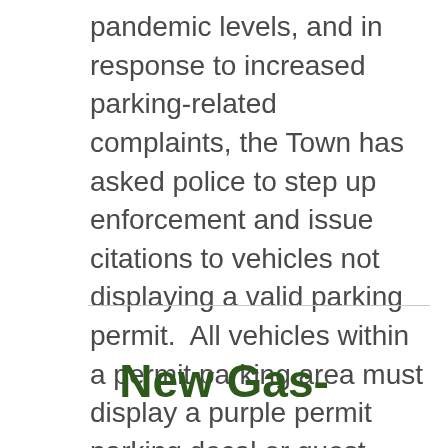pandemic levels, and in response to increased parking-related complaints, the Town has asked police to step up enforcement and issue citations to vehicles not displaying a valid parking permit.  All vehicles within a permit parking area must display a purple permit parking decal or guest pass with an expiration date of September 30, 2020.  Any resident who lives in a permit parking area and acquires a new vehicle should contact the Town office to request a permit parking sticker and guest pass.  For more information, please contact the Town Office at 301-654-7144.
New Gas-Powered Pl...